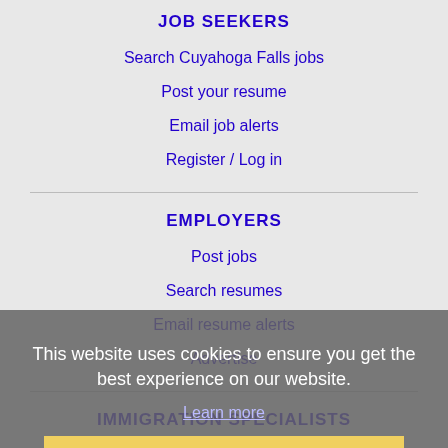JOB SEEKERS
Search Cuyahoga Falls jobs
Post your resume
Email job alerts
Register / Log in
EMPLOYERS
Post jobs
Search resumes
Email resume alerts
Advertise
IMMIGRATION SPECIALISTS
Post jobs
Immigration FAQs
Learn more
This website uses cookies to ensure you get the best experience on our website.
Learn more
Got it!